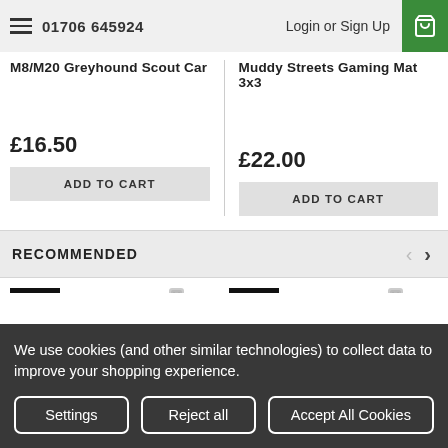01706 645924 | Login or Sign Up
M8/M20 Greyhound Scout Car
Muddy Streets Gaming Mat 3x3
£16.50
£22.00
RECOMMENDED
[Figure (photo): Vallejo product with dropper bottle thumbnail - left]
[Figure (photo): Vallejo product with dropper bottle thumbnail - right]
We use cookies (and other similar technologies) to collect data to improve your shopping experience.